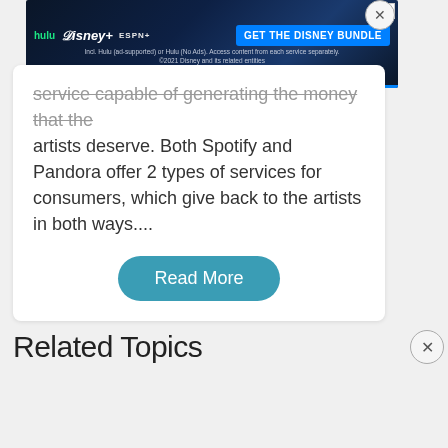[Figure (other): Disney Bundle advertisement banner with Hulu, Disney+, ESPN+ logos and 'GET THE DISNEY BUNDLE' CTA button on dark blue background with gradient bottom bar]
service capable of generating the money that the artists deserve. Both Spotify and Pandora offer 2 types of services for consumers, which give back to the artists in both ways....
Read More
Related Topics
[Figure (other): Disney Bundle advertisement banner with Hulu, Disney+, ESPN+ logos and 'GET THE DISNEY BUNDLE' CTA button on dark blue background with gradient bottom bar]